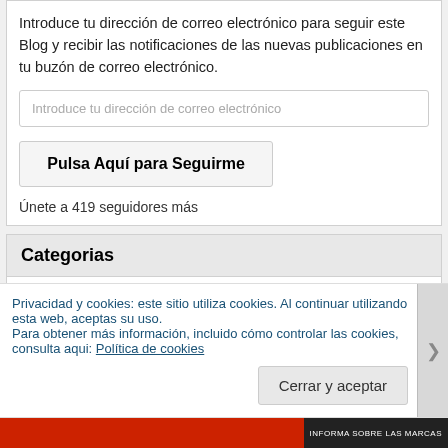Introduce tu dirección de correo electrónico para seguir este Blog y recibir las notificaciones de las nuevas publicaciones en tu buzón de correo electrónico.
Introduce tu dirección de correo electrónico
Pulsa Aquí para Seguirme
Únete a 419 seguidores más
Categorias
Elegir la categoría
Privacidad y cookies: este sitio utiliza cookies. Al continuar utilizando esta web, aceptas su uso.
Para obtener más información, incluido cómo controlar las cookies, consulta aqui: Política de cookies
Cerrar y aceptar